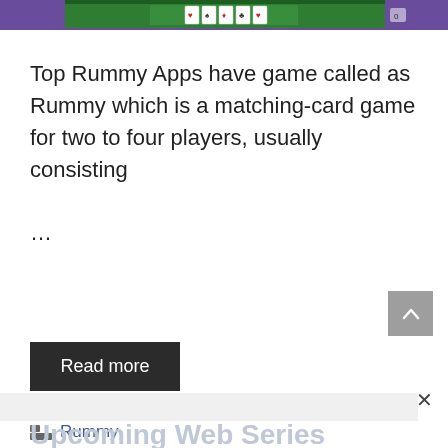[Figure (screenshot): Top banner image showing a Rummy card game interface with green table and playing cards]
Top Rummy Apps have game called as Rummy which is a matching-card game for two to four players, usually consisting …
Read more
Rummy
Upcoming Web Series in Hindi | Release